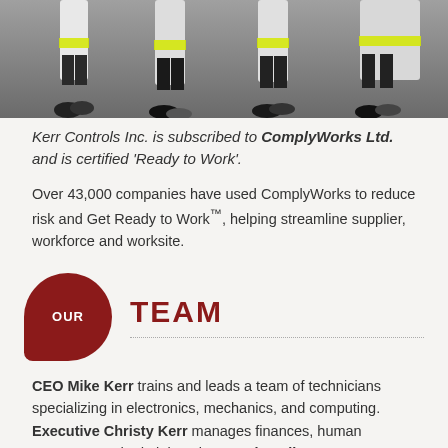[Figure (photo): Workers in high-visibility yellow and white safety gear walking, showing lower legs and boots on a concrete surface.]
Kerr Controls Inc. is subscribed to ComplyWorks Ltd. and is certified 'Ready to Work'.
Over 43,000 companies have used ComplyWorks to reduce risk and Get Ready to Work™, helping streamline supplier, workforce and worksite.
OUR TEAM
CEO Mike Kerr trains and leads a team of technicians specializing in electronics, mechanics, and computing. Executive Christy Kerr manages finances, human resources and administration. Our installers are journeyman electricians and controls technicians who work collaboratively with each other and our clients, contractors.